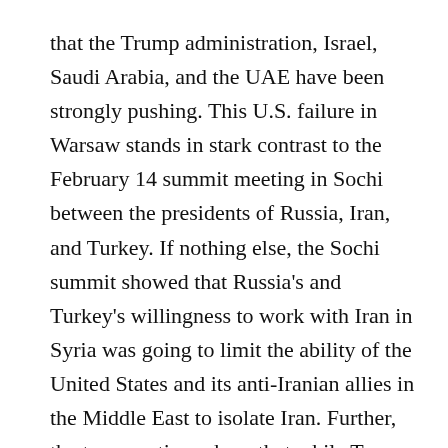that the Trump administration, Israel, Saudi Arabia, and the UAE have been strongly pushing. This U.S. failure in Warsaw stands in stark contrast to the February 14 summit meeting in Sochi between the presidents of Russia, Iran, and Turkey. If nothing else, the Sochi summit showed that Russia's and Turkey's willingness to work with Iran in Syria was going to limit the ability of the United States and its anti-Iranian allies in the Middle East to isolate Iran. Further, the two meetings show that while Trump is increasingly at odds with America's longstanding European allies, Putin is able to work cooperatively with often difficult leaders in Turkey and Iran.
Yet despite the more cooperative tone of the Sochi summit, differences among the Russian, Turkish, and Iranian leaders were evident. Iranian President